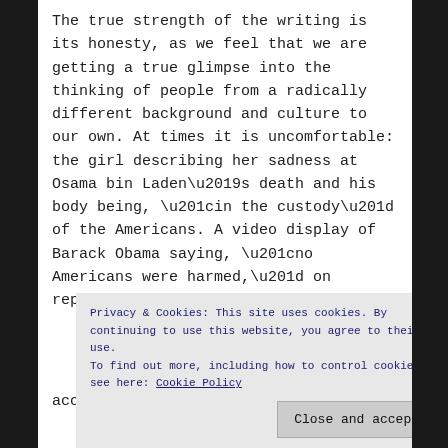The true strength of the writing is its honesty, as we feel that we are getting a true glimpse into the thinking of people from a radically different background and culture to our own. At times it is uncomfortable: the girl describing her sadness at Osama bin Laden’s death and his body being, “in the custody” of the Americans. A video display of Barack Obama saying, “no Americans were harmed,” on repeat.
Privacy & Cookies: This site uses cookies. By continuing to use this website, you agree to their use. To find out more, including how to control cookies, see here: Cookie Policy
Close and accept
accent. But this writing is brave,